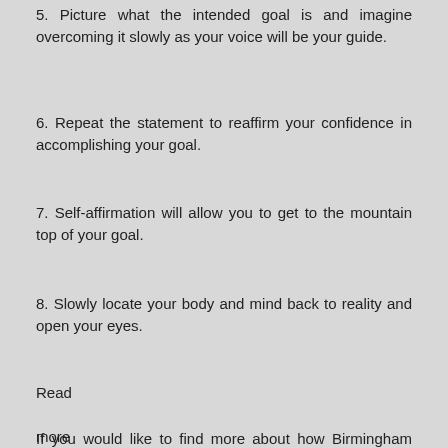5. Picture what the intended goal is and imagine overcoming it slowly as your voice will be your guide.
6. Repeat the statement to reaffirm your confidence in accomplishing your goal.
7. Self-affirmation will allow you to get to the mountain top of your goal.
8. Slowly locate your body and mind back to reality and open your eyes.
Read more at http://www.medicaldaily.com/articles/16718/20130620/hypnosis-weight-loss-self-hypnosis-weight-loss-strategies-obesity.htm#yCgIKkgvrbTypuor.99
If you would like to find more about how Birmingham Hypnotherapy